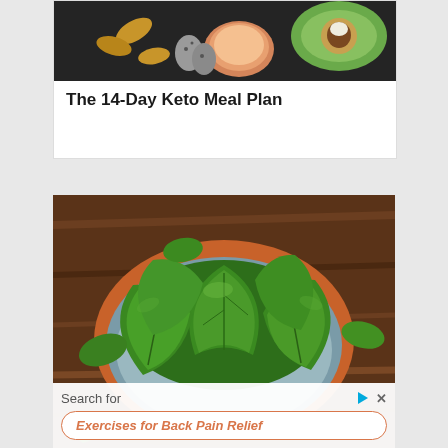[Figure (photo): Food photo showing keto ingredients including almonds, eggs, avocado on a dark background]
The 14-Day Keto Meal Plan
[Figure (photo): Bowl of fresh spinach leaves on a wooden table]
Search for
Exercises for Back Pain Relief